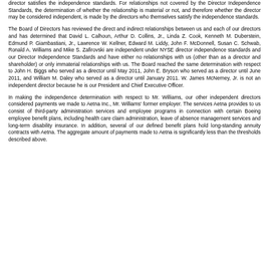director satisfies the independence standards. For relationships not covered by the Director Independence Standards, the determination of whether the relationship is material or not, and therefore whether the director may be considered independent, is made by the directors who themselves satisfy the independence standards.
The Board of Directors has reviewed the direct and indirect relationships between us and each of our directors and has determined that David L. Calhoun, Arthur D. Collins, Jr., Linda Z. Cook, Kenneth M. Duberstein, Edmund P. Giambastiani, Jr., Lawrence W. Kellner, Edward M. Liddy, John F. McDonnell, Susan C. Schwab, Ronald A. Williams and Mike S. Zafirovski are independent under NYSE director independence standards and our Director Independence Standards and have either no relationships with us (other than as a director and shareholder) or only immaterial relationships with us. The Board reached the same determination with respect to John H. Biggs who served as a director until May 2011, John E. Bryson who served as a director until June 2011, and William M. Daley who served as a director until January 2011. W. James McNerney, Jr. is not an independent director because he is our President and Chief Executive Officer.
In making the independence determination with respect to Mr. Williams, our other independent directors considered payments we made to Aetna Inc., Mr. Williams' former employer. The services Aetna provides to us consist of third-party administration services and employee programs in connection with certain Boeing employee benefit plans, including health care claim administration, leave of absence management services and long-term disability insurance. In addition, several of our defined benefit plans hold long-standing annuity contracts with Aetna. The aggregate amount of payments made to Aetna is significantly less than the thresholds described above.